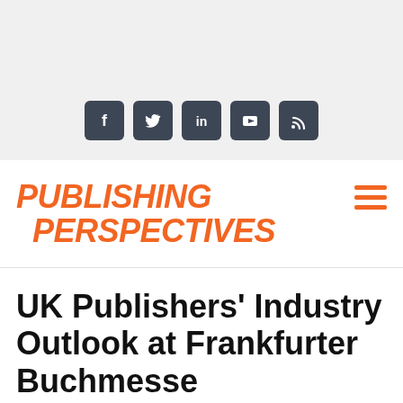[Figure (infographic): Social media icon bar on grey background showing Facebook, Twitter, LinkedIn, YouTube, and RSS feed icons in dark slate rounded square buttons]
[Figure (logo): Publishing Perspectives logo in bold italic orange uppercase text, two lines: PUBLISHING above PERSPECTIVES, with italic slant]
UK Publishers' Industry Outlook at Frankfurter Buchmesse